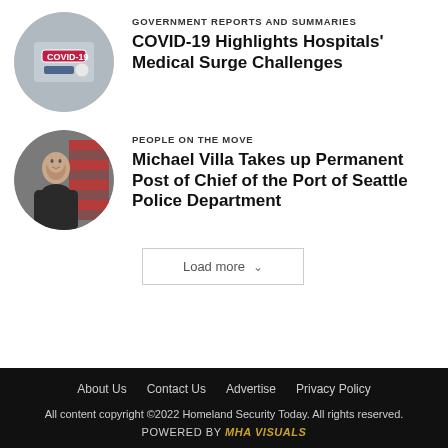[Figure (photo): Circular cropped photo showing COVID-19 test tube with red and white labeling]
GOVERNMENT REPORTS AND SUMMARIES
COVID-19 Highlights Hospitals' Medical Surge Challenges
[Figure (photo): Circular cropped headshot of Michael Villa, a man in dark uniform with American flag in background]
PEOPLE ON THE MOVE
Michael Villa Takes up Permanent Post of Chief of the Port of Seattle Police Department
Load more
About Us   Contact Us   Advertise   Privacy Policy
All content copyright ©2022 Homeland Security Today. All rights reserved.
POWERED BY MHA Visuals